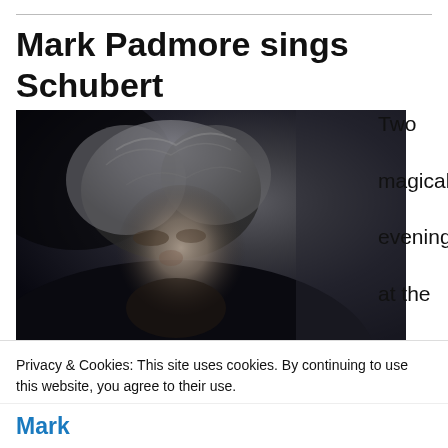Mark Padmore sings Schubert
[Figure (photo): Black and white portrait photo of a man (Mark Padmore) in three-quarter view looking slightly upward, dark background, dramatic lighting highlighting his face and grey hair.]
Two magical evenings at the Wigmore Hall, thanks to a friendly
Privacy & Cookies: This site uses cookies. By continuing to use this website, you agree to their use.
To find out more, including how to control cookies, see here: Cookie Policy
Close and accept
Mark